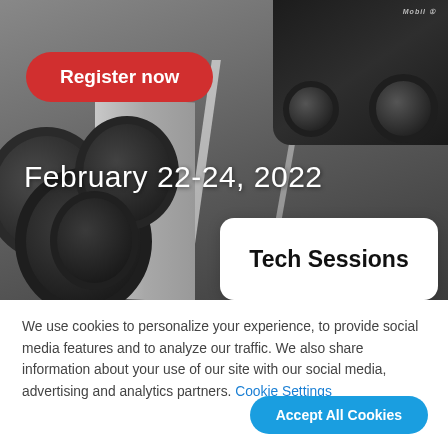[Figure (photo): Racetrack photo showing tires stacked on the left, a race car visible at top right with Mobil 1 branding, and track surface with white lane markings in the center]
Register now
February 22-24, 2022
Tech Sessions
We use cookies to personalize your experience, to provide social media features and to analyze our traffic. We also share information about your use of our site with our social media, advertising and analytics partners. Cookie Settings
Accept All Cookies